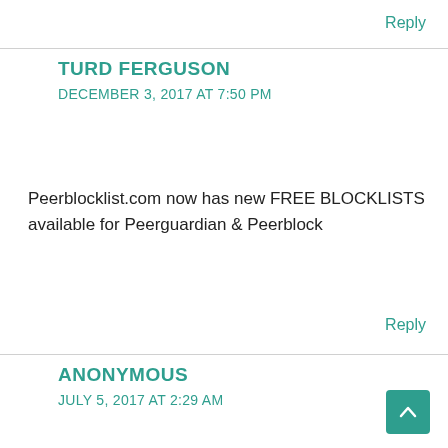Reply
TURD FERGUSON
DECEMBER 3, 2017 AT 7:50 PM
Peerblocklist.com now has new FREE BLOCKLISTS available for Peerguardian & Peerblock
Reply
ANONYMOUS
JULY 5, 2017 AT 2:29 AM